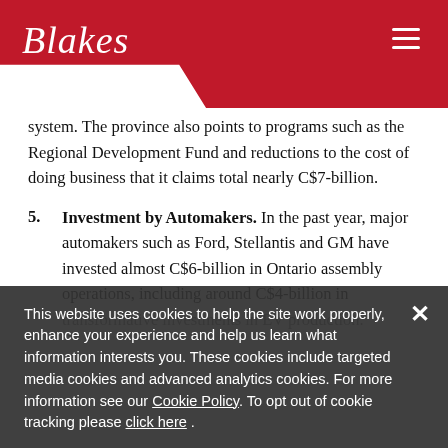Blakes
system. The province also points to programs such as the Regional Development Fund and reductions to the cost of doing business that it claims total nearly C$7-billion.
5. Investment by Automakers. In the past year, major automakers such as Ford, Stellantis and GM have invested almost C$6-billion in Ontario assembly operations, including around C$4-billion in transformative investments in EV production.
This website uses cookies to help the site work properly, enhance your experience and help us learn what information interests you. These cookies include targeted media cookies and advanced analytics cookies. For more information see our Cookie Policy. To opt out of cookie tracking please click here .